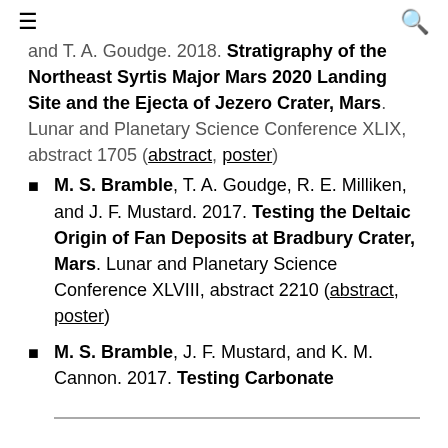≡ (menu icon) | 🔍 (search icon)
and T. A. Goudge. 2018. Stratigraphy of the Northeast Syrtis Major Mars 2020 Landing Site and the Ejecta of Jezero Crater, Mars. Lunar and Planetary Science Conference XLIX, abstract 1705 (abstract, poster)
M. S. Bramble, T. A. Goudge, R. E. Milliken, and J. F. Mustard. 2017. Testing the Deltaic Origin of Fan Deposits at Bradbury Crater, Mars. Lunar and Planetary Science Conference XLVIII, abstract 2210 (abstract, poster)
M. S. Bramble, J. F. Mustard, and K. M. Cannon. 2017. Testing Carbonate...